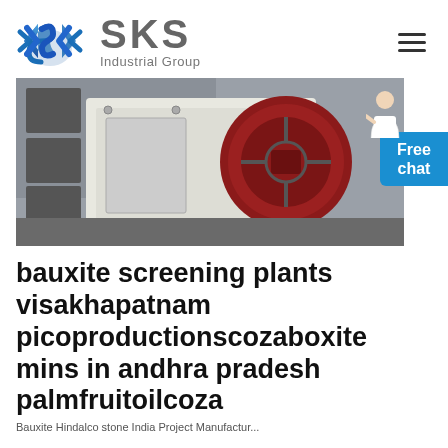[Figure (logo): SKS Industrial Group logo with blue diamond/arrow icon and gray text]
[Figure (photo): Industrial jaw crusher machine, white body with large red flywheel, photographed in a warehouse or factory setting]
bauxite screening plants visakhapatnam picoproductionscozaboxite mins in andhra pradesh palmfruitoilcoza
Bauxite Hindalco stone India Project Manufactur...